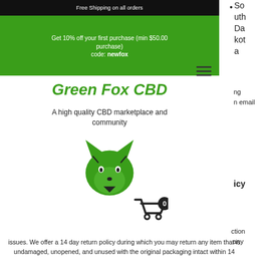Free Shipping on all orders
Get 10% off your first purchase (min $50.00 purchase)
code: newfox
South Dakota
ng
n email
Green Fox CBD
A high quality CBD marketplace and community
[Figure (logo): Green fox head logo icon in green color]
icy
[Figure (illustration): Shopping cart icon with 0 badge]
ction
any
issues. We offer a 14 day return policy during which you may return any item that is undamaged, unopened, and unused with the original packaging intact within 14